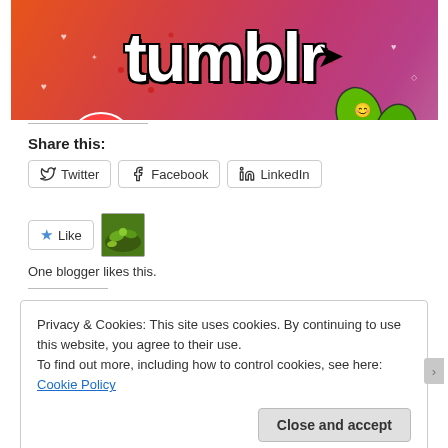[Figure (illustration): Tumblr advertisement banner with colorful orange-to-pink gradient background, 'tumblr' text in large bold white/black font, decorative doodles including an octopus, leaves, hearts, arrows, and dots]
Share this:
Twitter  Facebook  LinkedIn
Like
One blogger likes this.
Privacy & Cookies: This site uses cookies. By continuing to use this website, you agree to their use.
To find out more, including how to control cookies, see here: Cookie Policy
Close and accept